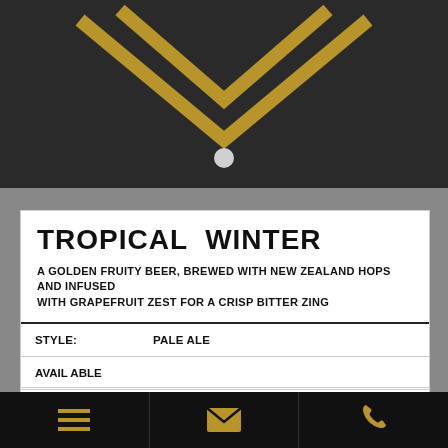[Figure (illustration): Dark background with gold diamond/chevron logo shape and a small white circle at bottom of the diamond point]
TROPICAL WINTER
A GOLDEN FRUITY BEER, BREWED WITH NEW ZEALAND HOPS AND INFUSED WITH GRAPEFRUIT ZEST FOR A CRISP BITTER ZING
| STYLE: | PALE ALE |
| ABV: | 4.5% |
| MALT: | MARIS OTTER, VIENNA, OATS, CARA MALT |
| HOPS: | FIRST GOLD, MOSAIC, DR RUDI, CITRA, ALSO CONTAINS GRAPEFRUIT ZEST |
| AVAILABLE |  |
Navigation bar with menu, email, and phone icons